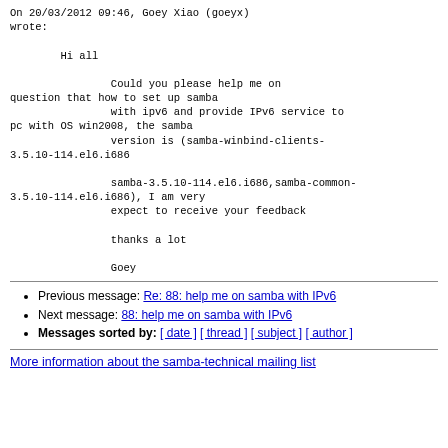On 20/03/2012 09:46, Goey Xiao (goeyx)
wrote:

        Hi all

                Could you please help me on
question that how to set up samba
                with ipv6 and provide IPv6 service to
pc with OS win2008, the samba
                version is (samba-winbind-clients-
3.5.10-114.el6.i686

                samba-3.5.10-114.el6.i686,samba-common-
3.5.10-114.el6.i686), I am very
                expect to receive your feedback

                thanks a lot

                Goey
Previous message: Re: 回复: help me on samba with IPv6
Next message: 回复: help me on samba with IPv6
Messages sorted by: [ date ] [ thread ] [ subject ] [ author ]
More information about the samba-technical mailing list